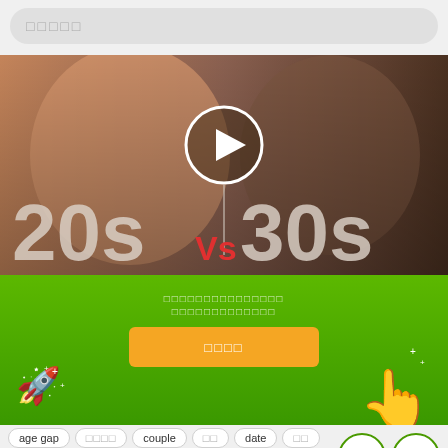□□□□□ (search bar placeholder)
[Figure (photo): Video thumbnail showing two women side by side with overlay text '20s Vs 30s' and a play button in the center]
□□□□□□□□□□□□□□□ □□□□□□□□□□□□□
□□□□ (orange button)
age gap
□□□□
couple
□□
date
□□
T+ T- (font size buttons)
□□□□  □□□□□ (3)